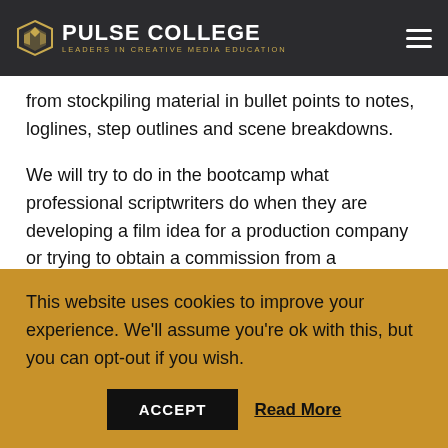PULSE COLLEGE — LEADERS IN CREATIVE MEDIA EDUCATION
from stockpiling material in bullet points to notes, loglines, step outlines and scene breakdowns.
We will try to do in the bootcamp what professional scriptwriters do when they are developing a film idea for a production company or trying to obtain a commission from a broadcaster for a TV series. Students will write every night, and during classes, circulate their drafts for discussion. It is anticipated that these discussions will cover such areas as; coming up with ideas, the application of different dramatic and documentary structures…
This website uses cookies to improve your experience. We'll assume you're ok with this, but you can opt-out if you wish.